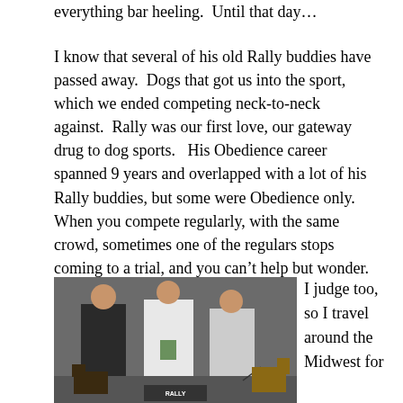everything bar heeling.  Until that day…
I know that several of his old Rally buddies have passed away.  Dogs that got us into the sport, which we ended competing neck-to-neck against.  Rally was our first love, our gateway drug to dog sports.   His Obedience career spanned 9 years and overlapped with a lot of his Rally buddies, but some were Obedience only.  When you compete regularly, with the same crowd, sometimes one of the regulars stops coming to a trial, and you can't help but wonder.
[Figure (photo): Three women standing with two dogs at what appears to be a dog rally or obedience trial. A sheltie on the left, a German Shepherd on the right. The middle woman holds what appears to be a trophy or ribbon. A sign at the bottom reads RALLY.]
I judge too, so I travel around the Midwest for